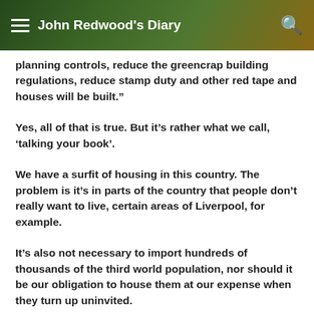John Redwood's Diary
planning controls, reduce the greencrap building regulations, reduce stamp duty and other red tape and houses will be built.”
Yes, all of that is true. But it’s rather what we call, ‘talking your book’.
We have a surfit of housing in this country. The problem is it’s in parts of the country that people don’t really want to live, certain areas of Liverpool, for example.
It’s also not necessary to import hundreds of thousands of the third world population, nor should it be our obligation to house them at our expense when they turn up uninvited.